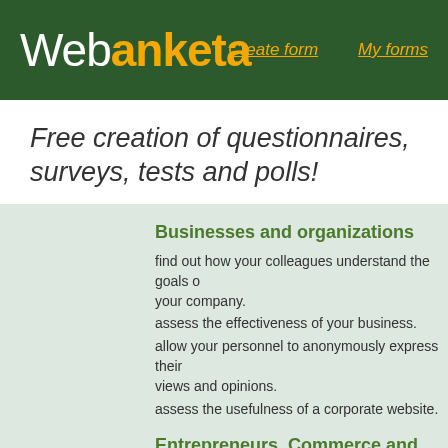Webanketa | Create form | My forms
Free creation of questionnaires, surveys, tests and polls!
Businesses and organizations
find out how your colleagues understand the goals of your company.
assess the effectiveness of your business.
allow your personnel to anonymously express their views and opinions.
assess the usefulness of a corporate website.
Entrepreneurs. Commerce and Business
find out how the customers feel about your products.
assess the quality of servicing your customers
assess the chances of success of a new product on market